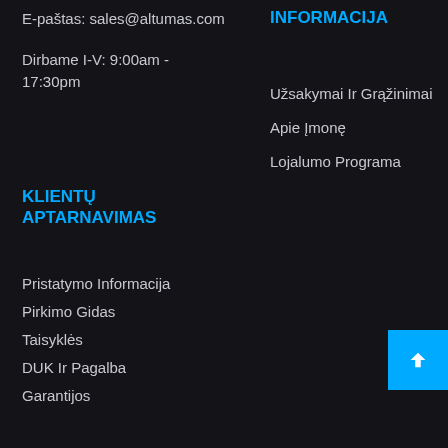E-paštas: sales@altumas.com
Dirbame I-V: 9:00am - 17:30pm
INFORMACIJA
Užsakymai Ir Grąžinimai
Apie Įmonę
Lojalumo Programa
KLIENTŲ APTARNAVIMAS
Pristatymo Informacija
Pirkimo Gidas
Taisyklės
DUK Ir Pagalba
Garantijos